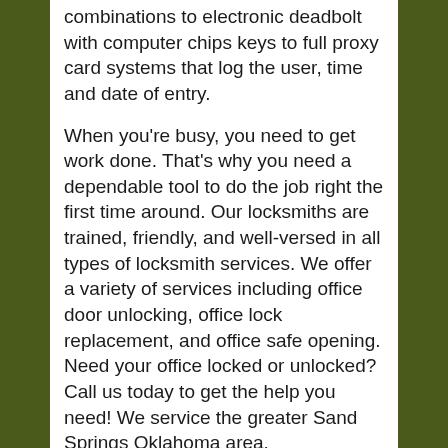combinations to electronic deadbolt with computer chips keys to full proxy card systems that log the user, time and date of entry.
When you're busy, you need to get work done. That's why you need a dependable tool to do the job right the first time around. Our locksmiths are trained, friendly, and well-versed in all types of locksmith services. We offer a variety of services including office door unlocking, office lock replacement, and office safe opening. Need your office locked or unlocked? Call us today to get the help you need! We service the greater Sand Springs Oklahoma area.